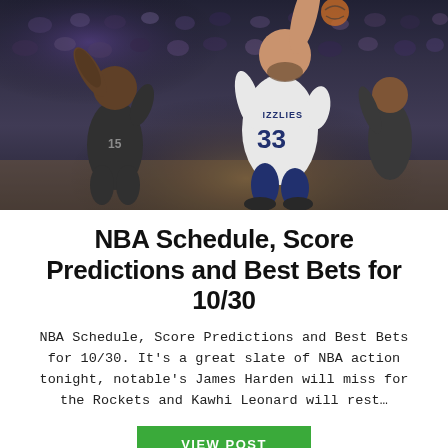[Figure (photo): NBA basketball game photo showing Memphis Grizzlies player #33 (Marc Gasol) in white GRIZZLIES jersey shooting over a Sacramento Kings defender in a dark jersey, with crowd in the background]
NBA Schedule, Score Predictions and Best Bets for 10/30
NBA Schedule, Score Predictions and Best Bets for 10/30. It's a great slate of NBA action tonight, notable's James Harden will miss for the Rockets and Kawhi Leonard will rest...
VIEW POST